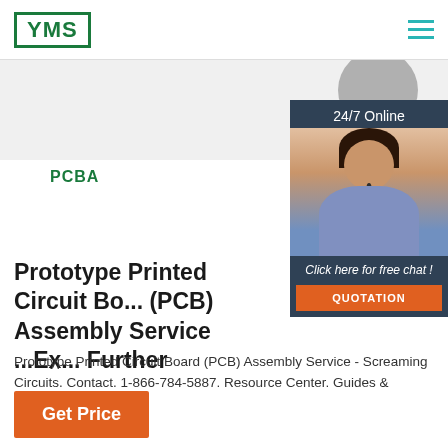[Figure (logo): YMS logo — green bordered rectangle with bold green YMS text]
[Figure (screenshot): Hero area with partial gray circular object top-right]
[Figure (photo): 24/7 Online chat widget with customer service representative photo, 'Click here for free chat!' text and orange QUOTATION button]
PCBA
Prototype Printed Circuit Bo... (PCB) Assembly Service ...Ex... Further
Prototype Printed Circuit Board (PCB) Assembly Service - Screaming Circuits. Contact. 1-866-784-5887. Resource Center. Guides & Support.
[Figure (other): Orange Get Price button]